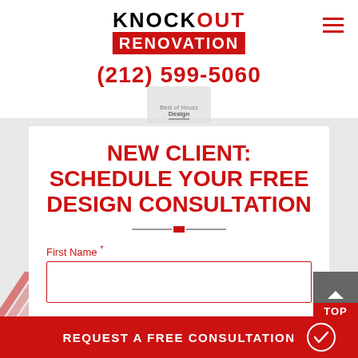[Figure (logo): Knockout Renovation logo with black text KNOCKOUT and red background RENOVATION]
(212) 599-5060
[Figure (illustration): Best of Houzz Design badge]
NEW CLIENT: SCHEDULE YOUR FREE DESIGN CONSULTATION
First Name *
[Figure (other): Empty text input field for First Name]
REQUEST A FREE CONSULTATION